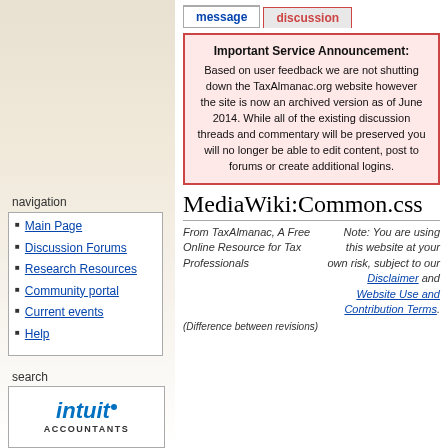message | discussion
Important Service Announcement: Based on user feedback we are not shutting down the TaxAlmanac.org website however the site is now an archived version as of June 2014. While all of the existing discussion threads and commentary will be preserved you will no longer be able to edit content, post to forums or create additional logins.
MediaWiki:Common.css
From TaxAlmanac, A Free Online Resource for Tax Professionals  Note: You are using this website at your own risk, subject to our Disclaimer and Website Use and Contribution Terms.
navigation
Main Page
Discussion Forums
Research Resources
Community portal
Current events
Help
search
[Figure (logo): Intuit Accountants logo in blue italic text]